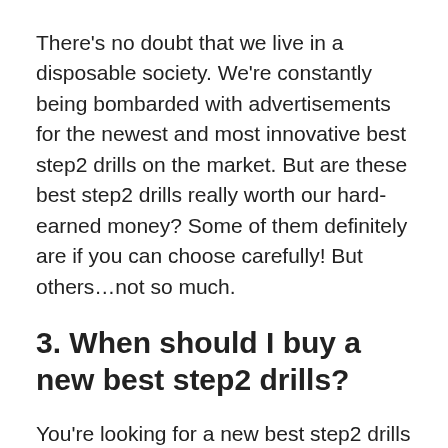There's no doubt that we live in a disposable society. We're constantly being bombarded with advertisements for the newest and most innovative best step2 drills on the market. But are these best step2 drills really worth our hard-earned money? Some of them definitely are if you can choose carefully! But others…not so much.
3. When should I buy a new best step2 drills?
You're looking for a new best step2 drills that you've always wanted. Should you buy it now, or wait? It's hard to tell what will happen with the price in the future. If there are no signs of slowing down production,